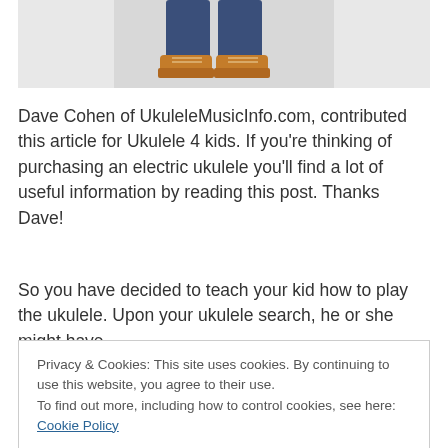[Figure (photo): Bottom half of a child squatting, wearing jeans and tan boots, against a white background]
Dave Cohen of UkuleleMusicInfo.com, contributed this article for Ukulele 4 kids. If you're thinking of purchasing an electric ukulele you'll find a lot of useful information by reading this post. Thanks Dave!
So you have decided to teach your kid how to play the ukulele. Upon your ukulele search, he or she might have
Privacy & Cookies: This site uses cookies. By continuing to use this website, you agree to their use.
To find out more, including how to control cookies, see here: Cookie Policy